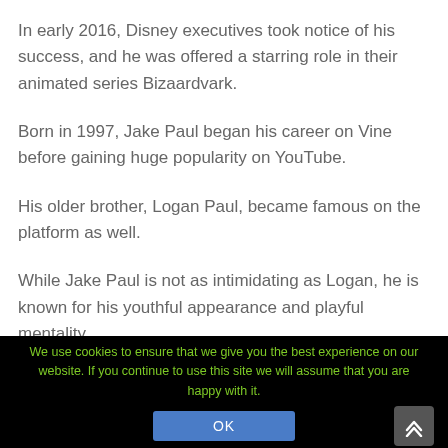In early 2016, Disney executives took notice of his success, and he was offered a starring role in their animated series Bizaardvark.
Born in 1997, Jake Paul began his career on Vine before gaining huge popularity on YouTube.
His older brother, Logan Paul, became famous on the platform as well.
While Jake Paul is not as intimidating as Logan, he is known for his youthful appearance and playful mentality.
We use cookies to ensure that we give you the best experience on our website. If you continue to use this site we will assume that you are happy with it.